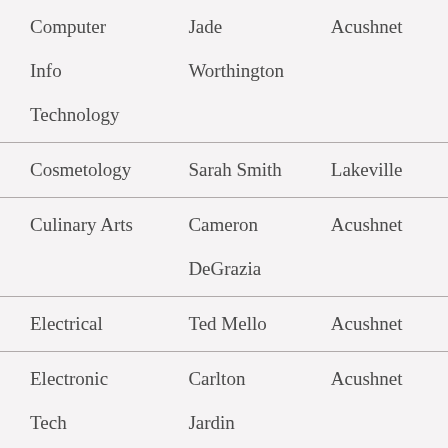| Computer Info Technology | Jade Worthington | Acushnet |
| Cosmetology | Sarah Smith | Lakeville |
| Culinary Arts | Cameron DeGrazia | Acushnet |
| Electrical | Ted Mello | Acushnet |
| Electronic Tech | Carlton Jardin | Acushnet |
| Graphic Comm. & Design | Paul Alexander | Acushnet |